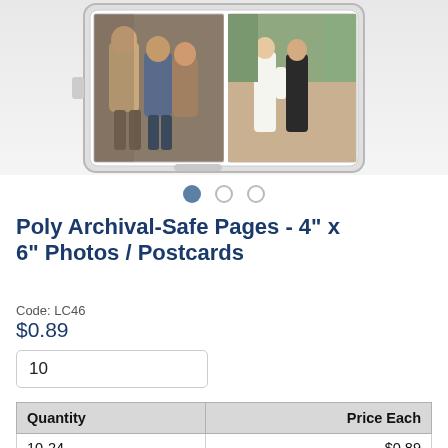[Figure (photo): Product image showing poly archival-safe pages with photos inside, displayed on a tablet/phone device. Two photos visible: a group of people and a couple (wedding photo).]
• ○ ○ (carousel navigation dots)
Poly Archival-Safe Pages - 4" x 6" Photos / Postcards
Code: LC46
$0.89
10
| Quantity | Price Each |
| --- | --- |
| 10-24 | $0.89 |
| 25-49 | $0.69 |
| 50-99 | $0.59 |
| ... | ... |